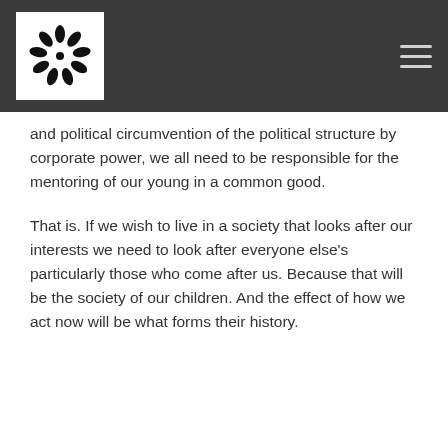[logo] [hamburger menu]
and political circumvention of the political structure by corporate power, we all need to be responsible for the mentoring of our young in a common good.
That is. If we wish to live in a society that looks after our interests we need to look after everyone else's particularly those who come after us. Because that will be the society of our children. And the effect of how we act now will be what forms their history.